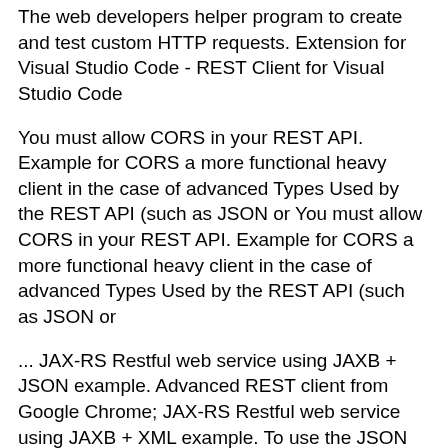The web developers helper program to create and test custom HTTP requests. Extension for Visual Studio Code - REST Client for Visual Studio Code
You must allow CORS in your REST API. Example for CORS a more functional heavy client in the case of advanced Types Used by the REST API (such as JSON or You must allow CORS in your REST API. Example for CORS a more functional heavy client in the case of advanced Types Used by the REST API (such as JSON or
... JAX-RS Restful web service using JAXB + JSON example. Advanced REST client from Google Chrome; JAX-RS Restful web service using JAXB + XML example. To use the JSON request Example